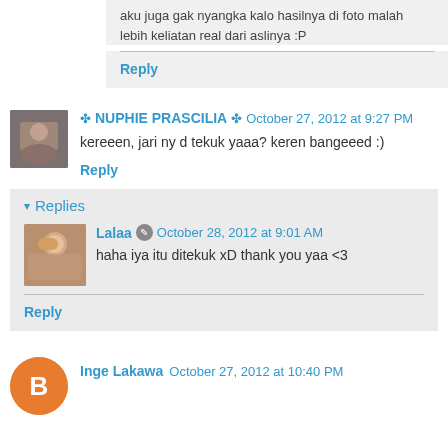aku juga gak nyangka kalo hasilnya di foto malah lebih keliatan real dari aslinya :P
Reply
NUPHIE PRASCILIA  October 27, 2012 at 9:27 PM
kereeen, jari ny d tekuk yaaa? keren bangeeed :)
Reply
Replies
Lalaa  October 28, 2012 at 9:01 AM
haha iya itu ditekuk xD thank you yaa <3
Reply
Inge Lakawa  October 27, 2012 at 10:40 PM